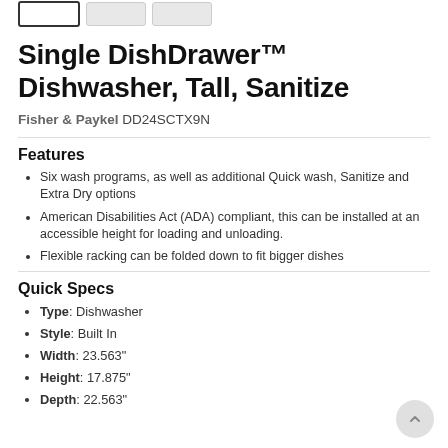[Figure (photo): Three thumbnail images at top: one active/selected (white background with border), two grayed out]
Single DishDrawer™ Dishwasher, Tall, Sanitize
Fisher & Paykel DD24SCTX9N
Features
Six wash programs, as well as additional Quick wash, Sanitize and Extra Dry options
American Disabilities Act (ADA) compliant, this can be installed at an accessible height for loading and unloading.
Flexible racking can be folded down to fit bigger dishes
Quick Specs
Type: Dishwasher
Style: Built In
Width: 23.563"
Height: 17.875"
Depth: 22.563"